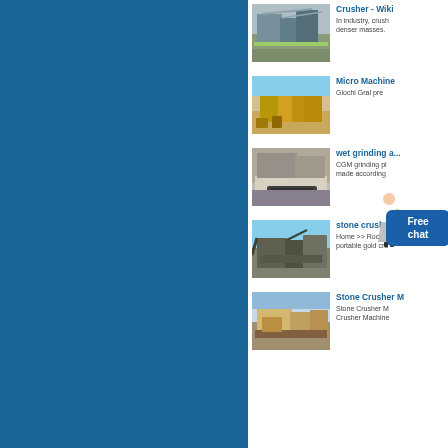[Figure (screenshot): Search results page showing stone crusher and mining equipment images with titles and snippets. Left panel is solid blue. Right panel shows search result thumbnails with titles: Crusher - Wiki, Micro Machine, wet grinding a..., stone crusher, Stone Crusher M...]
[Figure (photo): Aerial view of a large stone crushing plant with conveyors and equipment]
Crusher - Wiki
In industry, crush denser masses.
[Figure (photo): Yellow stone crushing and screening plant in an open quarry]
Micro Machine
Giochi Gral pre
[Figure (photo): Close-up of a mobile jaw crusher working on a pile of large stones]
wet grinding a...
CGM grinding pl made according
[Figure (photo): Stone crushing plant with conveyor belts and large machinery]
stone crusher
Home >> Rock C portable gold cru
[Figure (photo): Large stone crushing facility with equipment and machinery]
Stone Crusher M
Stone Crusher M Crusher Machine